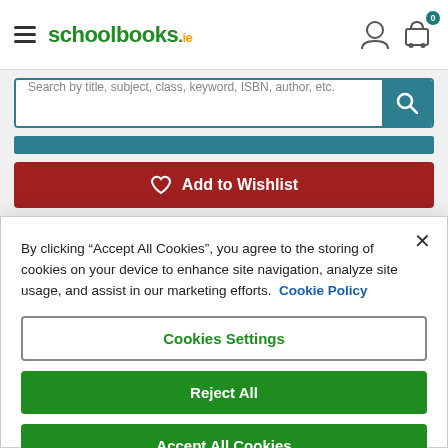[Figure (screenshot): schoolbooks.ie website header with hamburger menu, logo, user icon, and cart icon with badge 0]
Search by title, subject, class, keyword, ISBN, author, etc.
Add to Wishlist
By clicking “Accept All Cookies”, you agree to the storing of cookies on your device to enhance site navigation, analyze site usage, and assist in our marketing efforts. Cookie Policy
Cookies Settings
Reject All
Accept All Cookies